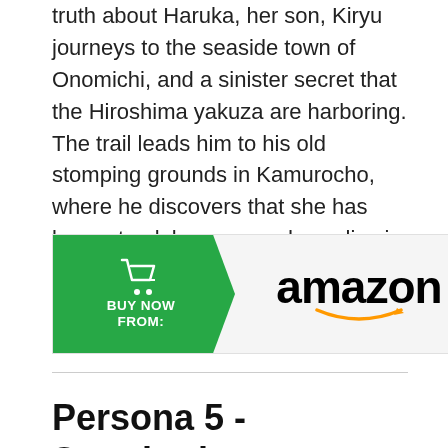truth about Haruka, her son, Kiryu journeys to the seaside town of Onomichi, and a sinister secret that the Hiroshima yakuza are harboring. The trail leads him to his old stomping grounds in Kamurocho, where he discovers that she has been struck by a car and now lies in a coma.
[Figure (other): Amazon 'Buy Now' advertisement banner with green arrow shape on left containing shopping cart icon and 'BUY NOW FROM:' text, Amazon logo on right, and '#ad' label to the right of the banner.]
Persona 5 - Standard